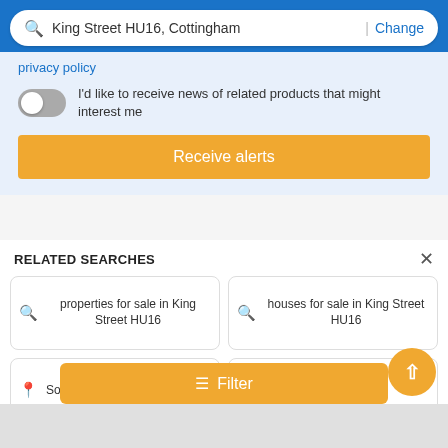[Figure (screenshot): Search bar with text 'King Street HU16, Cottingham' and 'Change' link on blue background]
privacy policy
I'd like to receive news of related products that might interest me
Receive alerts
RELATED SEARCHES
properties for sale in King Street HU16
houses for sale in King Street HU16
South Street HU16
Crescent Street HU16
Hallgate HU16
Finkle Street HU16
Northgate HU16
Filter